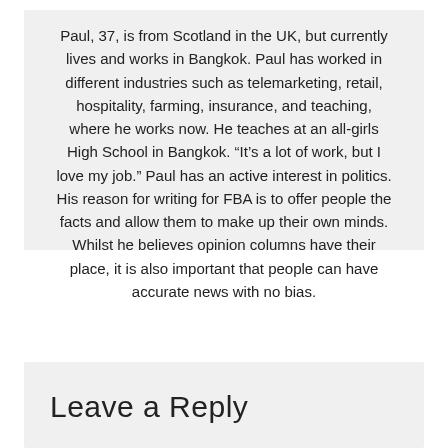Paul, 37, is from Scotland in the UK, but currently lives and works in Bangkok. Paul has worked in different industries such as telemarketing, retail, hospitality, farming, insurance, and teaching, where he works now. He teaches at an all-girls High School in Bangkok. “It’s a lot of work, but I love my job.” Paul has an active interest in politics. His reason for writing for FBA is to offer people the facts and allow them to make up their own minds. Whilst he believes opinion columns have their place, it is also important that people can have accurate news with no bias.
Leave a Reply